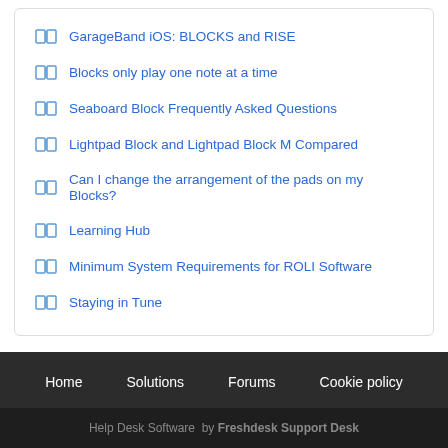GarageBand iOS: BLOCKS and RISE
Blocks only play one note at a time
Seaboard Block Frequently Asked Questions
Lightpad Block and Lightpad Block M Compared
Can I change the arrangement of the pads on my Blocks?
Learning Hub
Minimum System Requirements for ROLI Software
Staying in Tune
Home   Solutions   Forums   Cookie policy
Help Desk Software by Freshdesk Support Desk